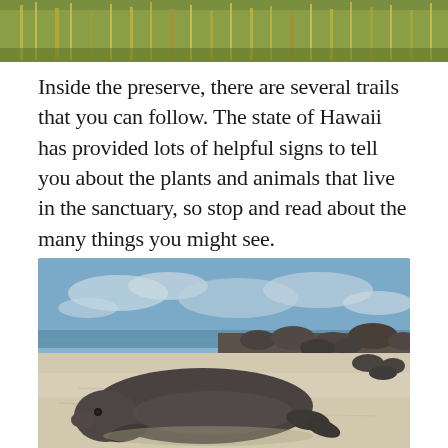[Figure (photo): Top portion of a photo showing tall green and yellow grass or vegetation in a natural preserve setting]
Inside the preserve, there are several trails that you can follow. The state of Hawaii has provided lots of helpful signs to tell you about the plants and animals that live in the sanctuary, so stop and read about the many things you might see.
[Figure (photo): A Hawaiian monk seal resting on a sandy white beach with rocks and ocean in the background under a partly cloudy blue sky]